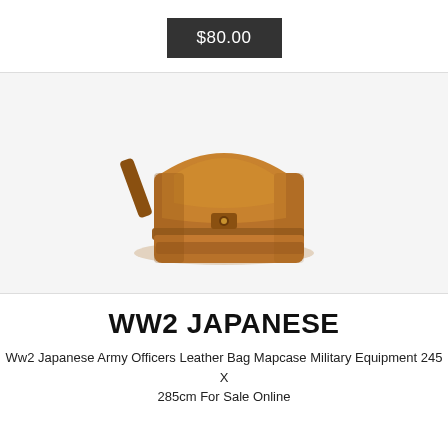$80.00
[Figure (photo): WW2 Japanese Army Officers Leather Bag Mapcase - a tan/brown leather satchel-style bag with a flap closure, buckle, and strap, photographed on a white background.]
WW2 JAPANESE
Ww2 Japanese Army Officers Leather Bag Mapcase Military Equipment 245 X 285cm For Sale Online